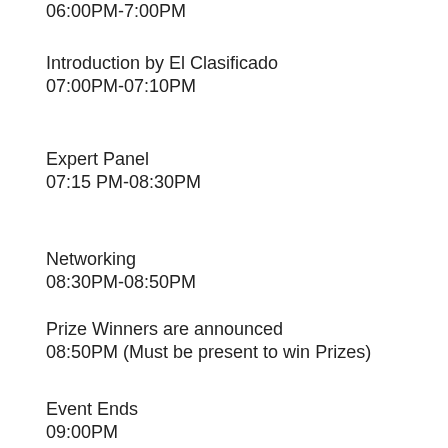06:00PM-7:00PM
Introduction by El Clasificado
07:00PM-07:10PM
Expert Panel
07:15 PM-08:30PM
Networking
08:30PM-08:50PM
Prize Winners are announced
08:50PM (Must be present to win Prizes)
Event Ends
09:00PM